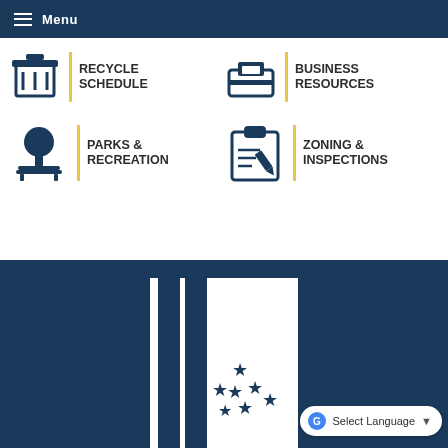Menu
[Figure (infographic): Recycle Schedule icon with trash/recycle bin symbol]
RECYCLE SCHEDULE
[Figure (infographic): Business Resources icon with briefcase/inbox symbol]
BUSINESS RESOURCES
[Figure (infographic): Parks & Recreation icon with tree and bench symbol]
PARKS & RECREATION
[Figure (infographic): Zoning & Inspections icon with clipboard and pencil symbol]
ZONING & INSPECTIONS
[Figure (logo): City flag/logo with blue stripes and white field containing stars arranged in a cluster pattern]
Select Language